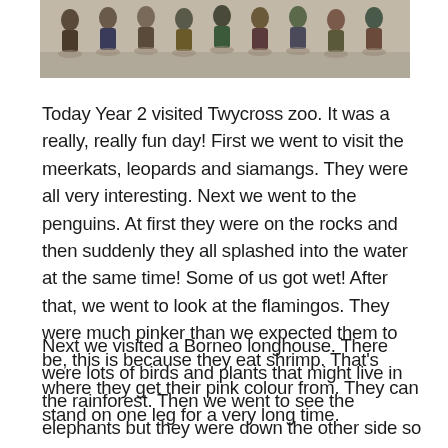[Figure (photo): A cropped photograph showing a group of children and adults standing in a row outdoors on a light sandy/concrete surface, viewed from above or at a low angle, with shadows visible beneath them.]
Today Year 2 visited Twycross zoo. It was a really, really fun day! First we went to visit the meerkats, leopards and siamangs. They were all very interesting. Next we went to the penguins. At first they were on the rocks and then suddenly they all splashed into the water at the same time! Some of us got wet! After that, we went to look at the flamingos. They were much pinker than we expected them to be, this is because they eat shrimp. That's where they get their pink colour from. They can stand on one leg for a very long time.
Next we visited a Borneo longhouse. There were lots of birds and plants that might live in the rainforest. Then we went to see the elephants but they were down the other side so we went this afternoon instead. We also saw the tapirs. We have learnt about these as they live in the